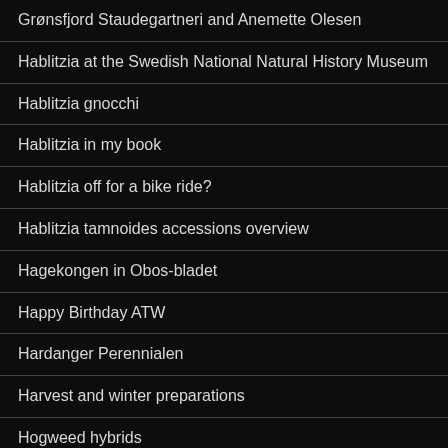Grønsfjord Staudegartneri and Anemette Olesen
Hablitzia at the Swedish National Natural History Museum
Hablitzia gnocchi
Hablitzia in my book
Hablitzia off for a bike ride?
Hablitzia tamnoides accessions overview
Hagekongen in Obos-bladet
Happy Birthday ATW
Hardanger Perennialen
Harvest and winter preparations
Hogweed hybrids
Home grown bread seed
Home grown trees in 2 months!!